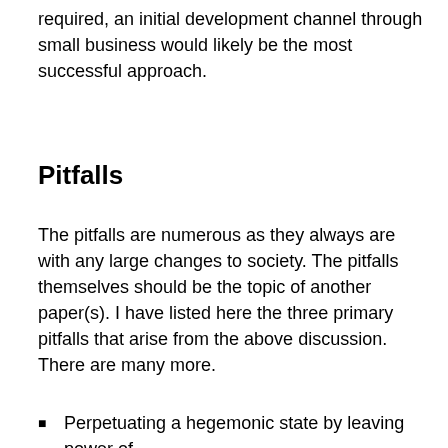required, an initial development channel through small business would likely be the most successful approach.
Pitfalls
The pitfalls are numerous as they always are with any large changes to society. The pitfalls themselves should be the topic of another paper(s). I have listed here the three primary pitfalls that arise from the above discussion. There are many more.
Perpetuating a hegemonic state by leaving power of